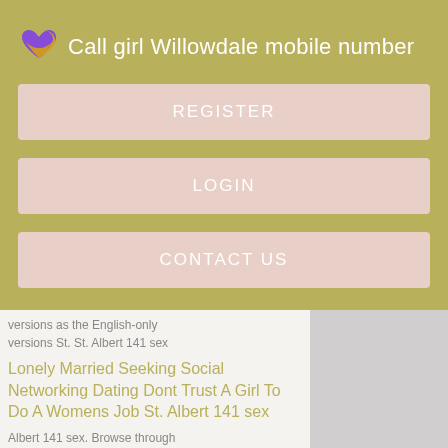Call girl Willowdale mobile number
REGISTER
LOGIN
CONTACT US
versions as the English-only versions St. St. Albert 141 sex
Lonely Married Seeking Social Networking Dating Dont Trust A Girl To Do A Womens Job St. Albert 141 sex
Albert 141 sex. Browse through